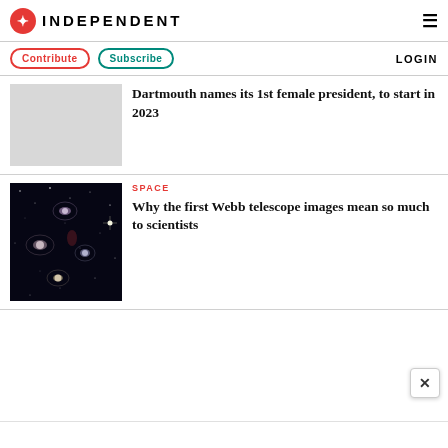INDEPENDENT
Contribute | Subscribe | LOGIN
Dartmouth names its 1st female president, to start in 2023
[Figure (photo): Space image showing galaxies against a dark star field (James Webb telescope image)]
SPACE
Why the first Webb telescope images mean so much to scientists